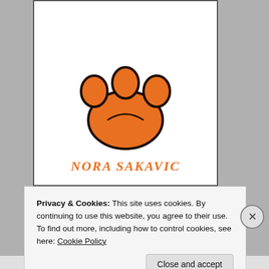[Figure (illustration): Top portion of a book cover showing an orange paw print logo on white background with the author name 'Nora Sakavic' in orange serif font below it.]
[Figure (illustration): Bottom book cover showing title 'The Raven King' in large bold serif font, with a black raven bird illustration below, partially visible.]
Privacy & Cookies: This site uses cookies. By continuing to use this website, you agree to their use.
To find out more, including how to control cookies, see here: Cookie Policy
Close and accept